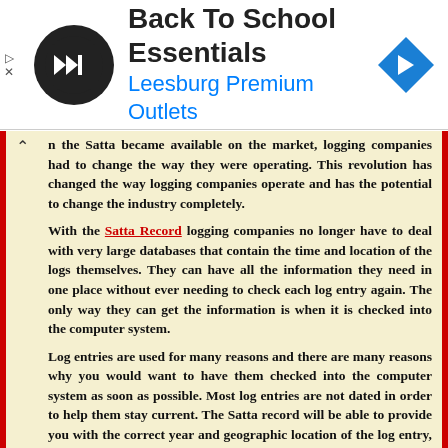[Figure (other): Advertisement banner: Back To School Essentials - Leesburg Premium Outlets, with circular logo and blue diamond navigation icon]
n the Satta became available on the market, logging companies had to change the way they were operating. This revolution has changed the way logging companies operate and has the potential to change the industry completely.
With the Satta Record logging companies no longer have to deal with very large databases that contain the time and location of the logs themselves. They can have all the information they need in one place without ever needing to check each log entry again. The only way they can get the information is when it is checked into the computer system.

Log entries are used for many reasons and there are many reasons why you would want to have them checked into the computer system as soon as possible. Most log entries are not dated in order to help them stay current. The Satta record will be able to provide you with the correct year and geographic location of the log entry, just in case you needed this information before or after you checked the date of the log entry.
Once the log has been electronically logged there is little room for error and none of the logs can be tampered with by human